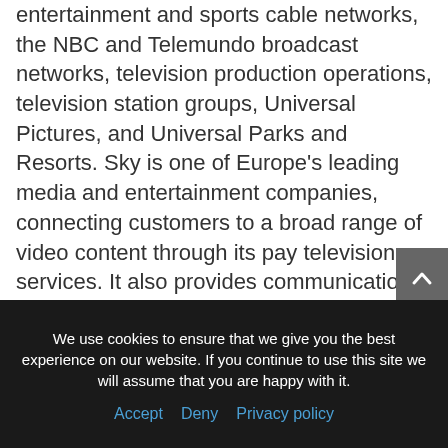entertainment and sports cable networks, the NBC and Telemundo broadcast networks, television production operations, television station groups, Universal Pictures, and Universal Parks and Resorts. Sky is one of Europe's leading media and entertainment companies, connecting customers to a broad range of video content through its pay television services. It also provides communications services, including residential high-speed Internet, phone, and wireless services. Sky operates the Sky News broadcast network and sports and entertainment networks, produces original content, and has exclusive content rights. Visit www.comcastcorporation.com for more information.
We use cookies to ensure that we give you the best experience on our website. If you continue to use this site we will assume that you are happy with it.
Accept  Deny  Privacy policy